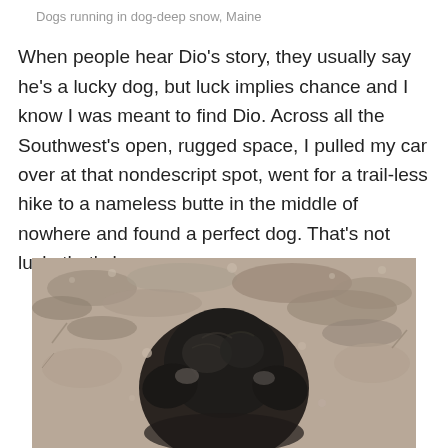Dogs running in dog-deep snow, Maine
When people hear Dio’s story, they usually say he’s a lucky dog, but luck implies chance and I know I was meant to find Dio. Across all the Southwest’s open, rugged space, I pulled my car over at that nondescript spot, went for a trail-less hike to a nameless butte in the middle of nowhere and found a perfect dog. That’s not luck, that’s love.
[Figure (photo): Close-up overhead view of a dark-furred dog resting on dry, gravelly desert ground with sparse dry brush, viewed from above showing the top of the dog's head and ears.]